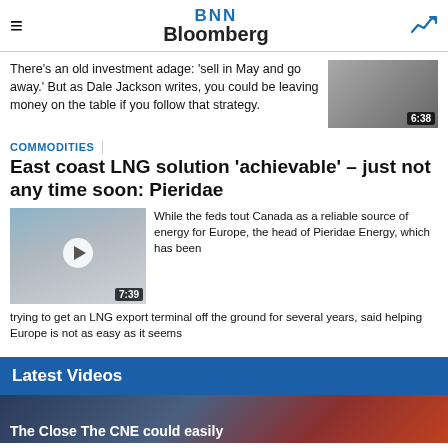BNN Bloomberg
There's an old investment adage: 'sell in May and go away.' But as Dale Jackson writes, you could be leaving money on the table if you follow that strategy.
COMMODITIES
East coast LNG solution 'achievable' – just not any time soon: Pieridae
[Figure (photo): Video thumbnail showing industrial LNG pipes, with play button and duration badge 7:39]
While the feds tout Canada as a reliable source of energy for Europe, the head of Pieridae Energy, which has been trying to get an LNG export terminal off the ground for several years, said helping Europe is not as easy as it seems
Latest Videos
[Figure (photo): Video thumbnail at bottom showing The Close and The CNE could easily...]